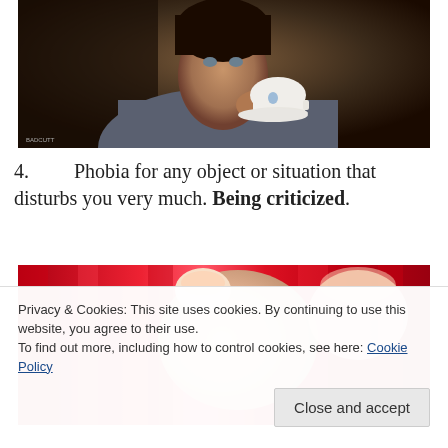[Figure (photo): A person drinking from a decorative teacup with saucer, wearing a grey jacket, photographed against a dark background]
4. Phobia for any object or situation that disturbs you very much. Being criticized.
[Figure (photo): Close-up of fingers against a bright red background]
Privacy & Cookies: This site uses cookies. By continuing to use this website, you agree to their use.
To find out more, including how to control cookies, see here: Cookie Policy
Close and accept